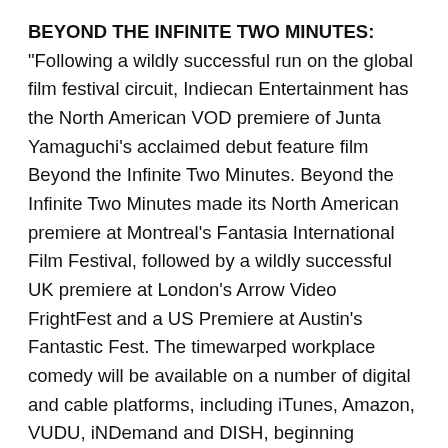BEYOND THE INFINITE TWO MINUTES: "Following a wildly successful run on the global film festival circuit, Indiecan Entertainment has the North American VOD premiere of Junta Yamaguchi's acclaimed debut feature film Beyond the Infinite Two Minutes. Beyond the Infinite Two Minutes made its North American premiere at Montreal's Fantasia International Film Festival, followed by a wildly successful UK premiere at London's Arrow Video FrightFest and a US Premiere at Austin's Fantastic Fest. The timewarped workplace comedy will be available on a number of digital and cable platforms, including iTunes, Amazon, VUDU, iNDemand and DISH, beginning January 25th.
Beyond the Infinite Two Minutes had its world premiere at Brussels International Fantastic Film Festival, beginning a global tour of critical and audience acclaim.